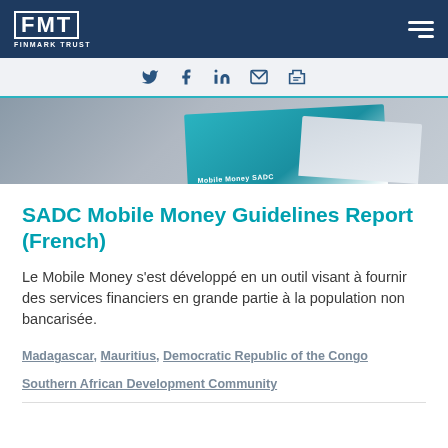FMT FINMARK TRUST
[Figure (screenshot): Social media sharing icons: Twitter, Facebook, LinkedIn, Email, Print]
[Figure (photo): Partial view of a teal and white report cover showing text 'Mobile Money SADC']
SADC Mobile Money Guidelines Report (French)
Le Mobile Money s'est développé en un outil visant à fournir des services financiers en grande partie à la population non bancarisée.
Madagascar, Mauritius, Democratic Republic of the Congo
Southern African Development Community